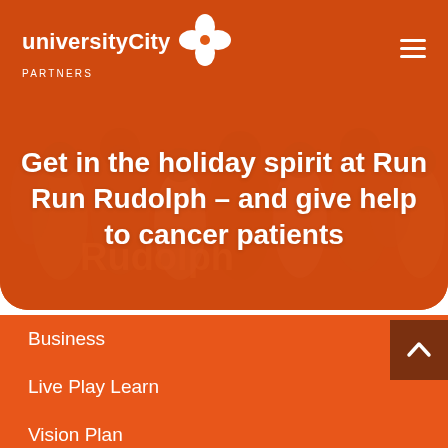universityCity Partners
[Figure (photo): Orange-tinted background photo showing a group of runners/people in orange shirts, overlaid with a semi-transparent orange wash]
Get in the holiday spirit at Run Run Rudolph – and give help to cancer patients
Business
Live Play Learn
Vision Plan
Research & Plans
About UCP
News